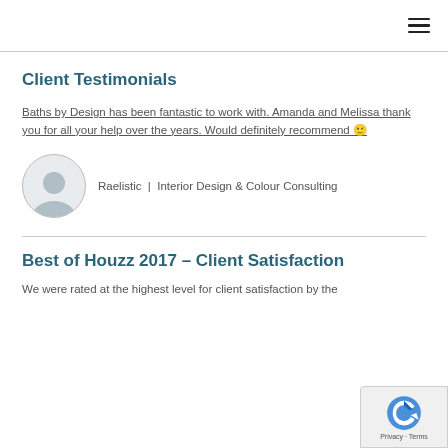Client Testimonials
Baths by Design has been fantastic to work with. Amanda and Melissa thank you for all your help over the years. Would definitely recommend 🙂
Raelistic | Interior Design & Colour Consulting
Best of Houzz 2017 – Client Satisfaction
We were rated at the highest level for client satisfaction by the